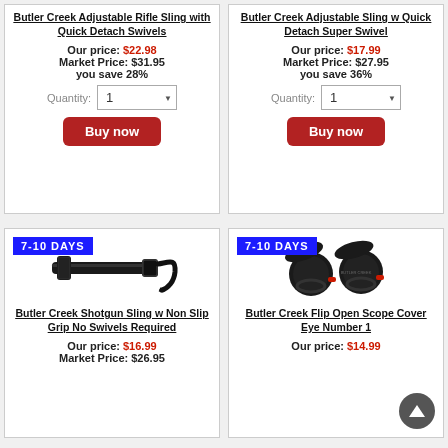Butler Creek Adjustable Rifle Sling with Quick Detach Swivels
Our price: $22.98
Market Price: $31.95
you save 28%
Butler Creek Adjustable Sling w Quick Detach Super Swivel
Our price: $17.99
Market Price: $27.95
you save 36%
[Figure (photo): Butler Creek Shotgun Sling w Non Slip Grip No Swivels Required - black rifle sling product photo with 7-10 DAYS badge]
Butler Creek Shotgun Sling w Non Slip Grip No Swivels Required
Our price: $16.99
Market Price: $26.95
[Figure (photo): Butler Creek Flip Open Scope Cover Eye Number 1 - black lens covers product photo with 7-10 DAYS badge]
Butler Creek Flip Open Scope Cover Eye Number 1
Our price: $14.99